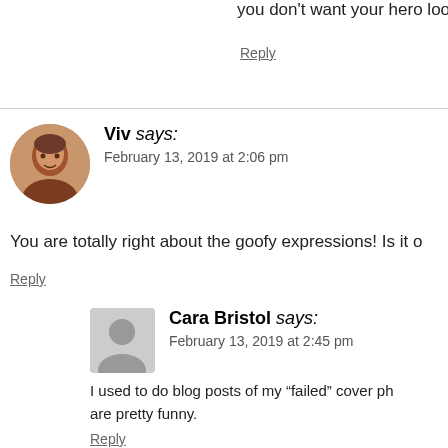you don't want your hero looking like an alien
Reply
Viv says: February 13, 2019 at 2:06 pm
You are totally right about the goofy expressions! Is it o
Reply
Cara Bristol says: February 13, 2019 at 2:45 pm
I used to do blog posts of my “failed” cover ph are pretty funny.
Reply
Janet says: